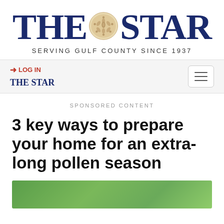[Figure (logo): The Star newspaper logo with sand dollar emblem and text 'THE STAR' in large dark blue serif font]
SERVING GULF COUNTY SINCE 1937
🔒 LOG IN
THE STAR
SPONSORED CONTENT
3 key ways to prepare your home for an extra-long pollen season
[Figure (photo): Bottom edge of outdoor photo, appears to show greenery/nature scene]